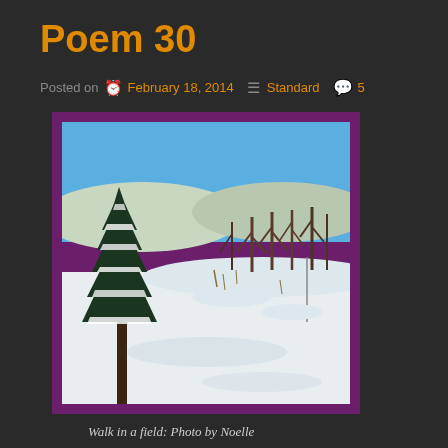Poem 30
Posted on  February 18, 2014   Standard   5
[Figure (photo): Winter snow scene with a snow-covered evergreen tree in the foreground, a snowy field in the middle ground, and bare trees against a blue sky in the background.]
Walk in a field: Photo by Noelle